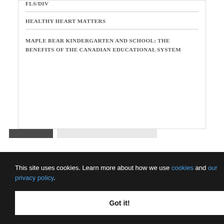FLS/DIV
HEALTHY HEART MATTERS
MAPLE BEAR KINDERGARTEN AND SCHOOL: THE BENEFITS OF THE CANADIAN EDUCATIONAL SYSTEM
This site uses cookies. Learn more about how we use cookies and our privacy policy.
Got it!